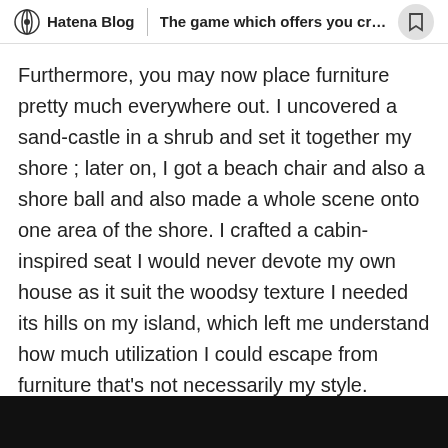Hatena Blog | The game which offers you creativ...
Furthermore, you may now place furniture pretty much everywhere out. I uncovered a sand-castle in a shrub and set it together my shore ; later on, I got a beach chair and also a shore ball and also made a whole scene onto one area of the shore. I crafted a cabin-inspired seat I would never devote my own house as it suit the woodsy texture I needed its hills on my island, which left me understand how much utilization I could escape from furniture that's not necessarily my style.
fieldplayer15 1 year ago